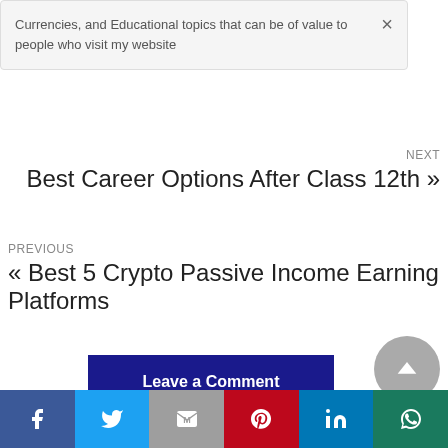Currencies, and Educational topics that can be of value to people who visit my website
NEXT
Best Career Options After Class 12th »
PREVIOUS
« Best 5 Crypto Passive Income Earning Platforms
Leave a Comment